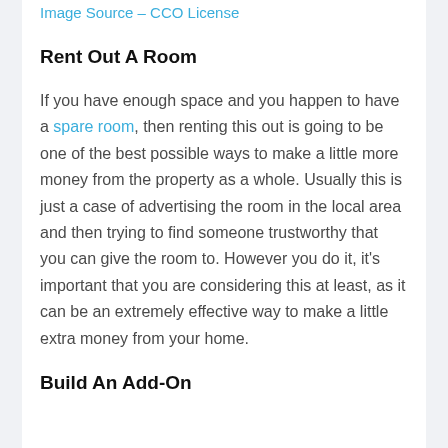Image Source – CCO License
Rent Out A Room
If you have enough space and you happen to have a spare room, then renting this out is going to be one of the best possible ways to make a little more money from the property as a whole. Usually this is just a case of advertising the room in the local area and then trying to find someone trustworthy that you can give the room to. However you do it, it's important that you are considering this at least, as it can be an extremely effective way to make a little extra money from your home.
Build An Add-On